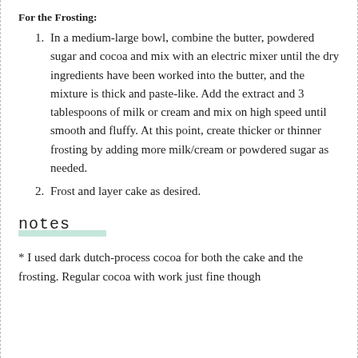For the Frosting:
In a medium-large bowl, combine the butter, powdered sugar and cocoa and mix with an electric mixer until the dry ingredients have been worked into the butter, and the mixture is thick and paste-like. Add the extract and 3 tablespoons of milk or cream and mix on high speed until smooth and fluffy. At this point, create thicker or thinner frosting by adding more milk/cream or powdered sugar as needed.
Frost and layer cake as desired.
notes
* I used dark dutch-process cocoa for both the cake and the frosting. Regular cocoa with work just fine though